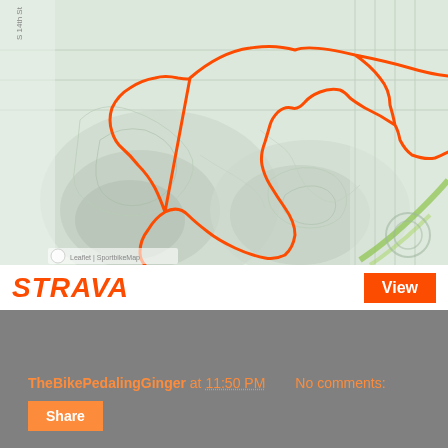[Figure (map): Strava activity map showing a bike ride route traced in orange on a topographic map with terrain features, hills and valleys visible]
STRAVA
View
TheBikePedalingGinger at 11:50 PM    No comments:
Share
Friday, June 3, 2016
South Mountain Showdown...